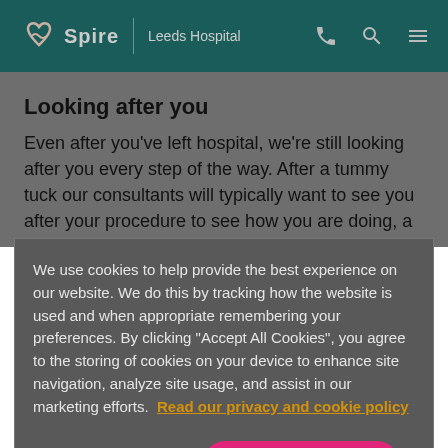Spire | Leeds Hospital
Looking after you
Even after you've left hospital, we're still looking after you every step of the way. After a tummy tuck our consultants will typically want to see you after your procedure to see how you are doing, a date for an appointment will be
We use cookies to help provide the best experience on our website. We do this by tracking how the website is used and when appropriate remembering your preferences. By clicking "Accept All Cookies", you agree to the storing of cookies on your device to enhance site navigation, analyze site usage, and assist in our marketing efforts. Read our privacy and cookie policy
Cookies Settings
Accept All Cookies